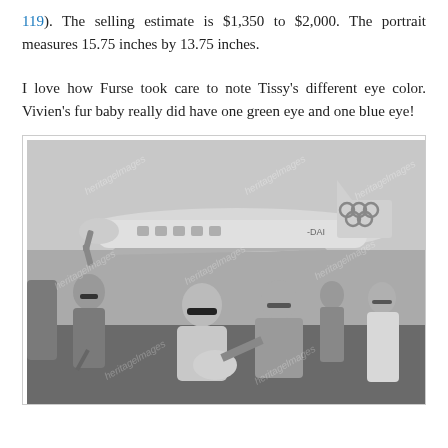119). The selling estimate is $1,350 to $2,000. The portrait measures 15.75 inches by 13.75 inches.
I love how Furse took care to note Tissy's different eye color. Vivien's fur baby really did have one green eye and one blue eye!
[Figure (photo): Black and white photograph of people at an airport tarmac with a propeller aircraft in the background. An Olympic Airways plane with the Olympic rings on the tail fin is visible. Several people are in the foreground; a woman in the center is holding flowers and wearing sunglasses. A man beside her is leaning toward her. Other figures stand to the left and right. The image has a 'heritage images' watermark repeated across it.]